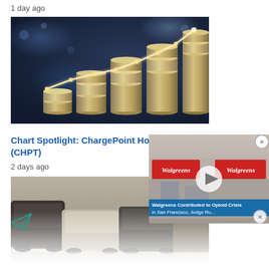1 day ago
[Figure (photo): Stock market growth concept: stacked silver coins in increasing heights with a glowing white line chart trending upward in the background against a dark bokeh city background.]
Chart Spotlight: ChargePoint Ho... (CHPT)
2 days ago
[Figure (photo): Electric vehicles and cars parked in a lot, viewed from above at an angle. Partially faded/translucent at the bottom.]
[Figure (screenshot): Video popup overlay showing Walgreens store exterior with play button. Caption reads: 'Walgreens Contributed to Opioid Crisis in San Francisco, Judge Ru...' with close buttons.]